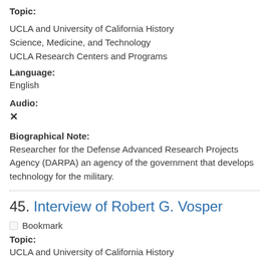Topic:
UCLA and University of California History
Science, Medicine, and Technology
UCLA Research Centers and Programs
Language:
English
Audio:
✕
Biographical Note:
Researcher for the Defense Advanced Research Projects Agency (DARPA) an agency of the government that develops technology for the military.
45. Interview of Robert G. Vosper
Bookmark
Topic:
UCLA and University of California History